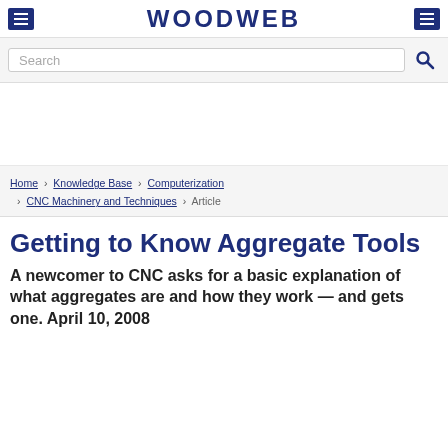WOODWEB
Search
Home › Knowledge Base › Computerization › CNC Machinery and Techniques › Article
Getting to Know Aggregate Tools
A newcomer to CNC asks for a basic explanation of what aggregates are and how they work — and gets one. April 10, 2008